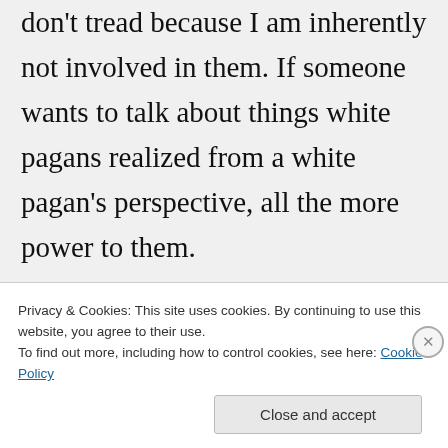don't tread because I am inherently not involved in them. If someone wants to talk about things white pagans realized from a white pagan's perspective, all the more power to them.

Yes, safe space is a necessity for marginalized groups. What good does it do for the small minorities if we feel we are put under some sort of microscope that requires we conform to some idea of what
Privacy & Cookies: This site uses cookies. By continuing to use this website, you agree to their use.
To find out more, including how to control cookies, see here: Cookie Policy
Close and accept